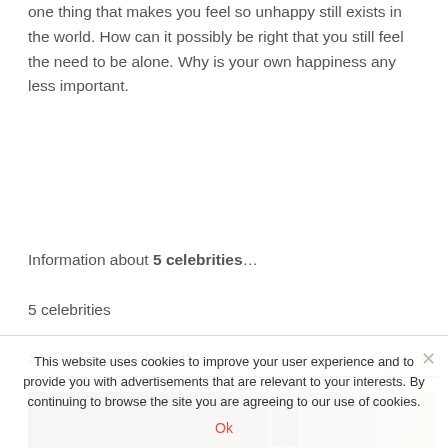one thing that makes you feel so unhappy still exists in the world. How can it possibly be right that you still feel the need to be alone. Why is your own happiness any less important.
Information about 5 celebrities…
5 celebrities
SUGGESTED NEWS
[Figure (photo): A hand holding a smartphone, dark background]
This website uses cookies to improve your user experience and to provide you with advertisements that are relevant to your interests. By continuing to browse the site you are agreeing to our use of cookies.
Ok